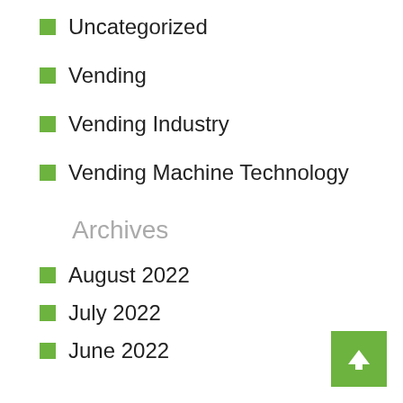Uncategorized
Vending
Vending Industry
Vending Machine Technology
Archives
August 2022
July 2022
June 2022
May 2022
April 2022